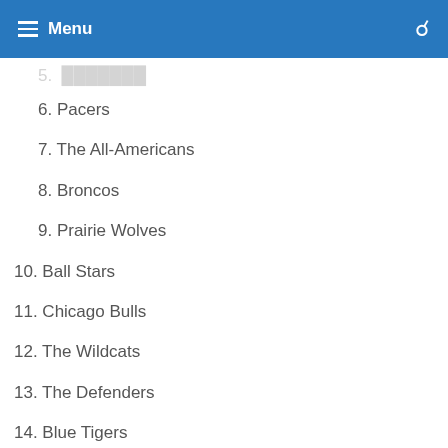Menu
6. Pacers
7. The All-Americans
8. Broncos
9. Prairie Wolves
10. Ball Stars
11. Chicago Bulls
12. The Wildcats
13. The Defenders
14. Blue Tigers